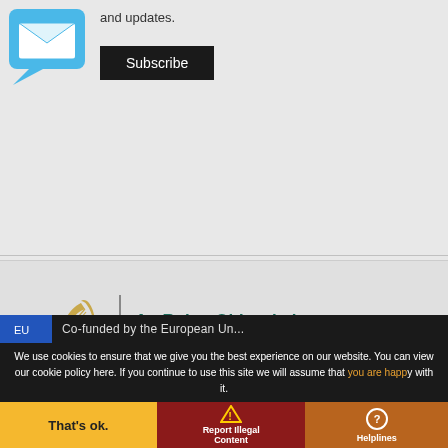[Figure (illustration): Blue envelope/email icon with speech bubble style]
and updates.
Subscribe
[Figure (logo): An Roinn Oideachais / Department of Education Irish government logo with harp emblem]
Co-funded by the European Union (partially visible)
We use cookies to ensure that we give you the best experience on our website. You can view our cookie policy here. If you continue to use this site we will assume that you are happy with it.
That's ok.
Report Illegal Content
Helplines